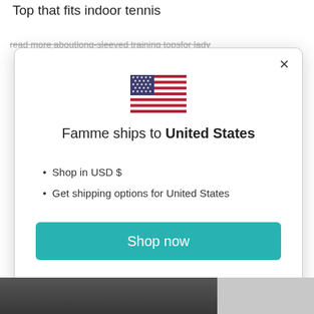Top that fits indoor tennis
read more aboutlong-sleeved training topsfor lady
[Figure (screenshot): Modal dialog showing a US flag emoji, the text 'Famme ships to United States', bullet points 'Shop in USD $' and 'Get shipping options for United States', a teal 'Shop now' button, and a 'Change shipping country' link with a close (X) button in the top right corner.]
[Figure (photo): Partial photo strip at the bottom showing a person in dark clothing on the left, and possibly a person with lighter appearance on the right.]